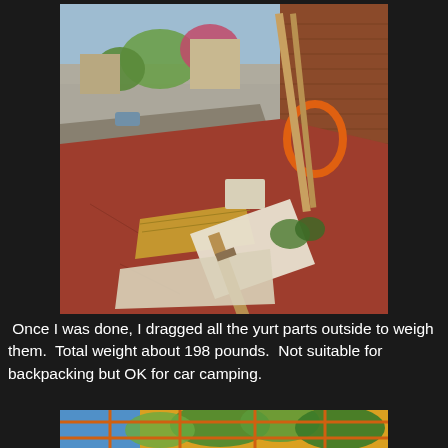[Figure (photo): Outdoor photo showing yurt parts laid out on a red brick/concrete porch next to a brick building. Items include folded canvas/fabric, wooden poles, a rolled mat or sleeping pad, and an orange circular hoop ring. A street and trees are visible in the background.]
Once I was done, I dragged all the yurt parts outside to weigh them. Total weight about 198 pounds. Not suitable for backpacking but OK for car camping.
[Figure (photo): Partial view of a colorful fabric or textile with tree/nature designs in green, yellow, blue, and orange colors — likely part of the yurt covering or decorative fabric.]